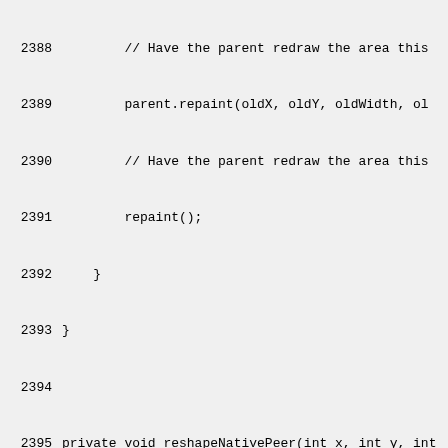Source code listing, lines 2388-2418, showing Java methods reshapeNativePeer and notifyNewBounds